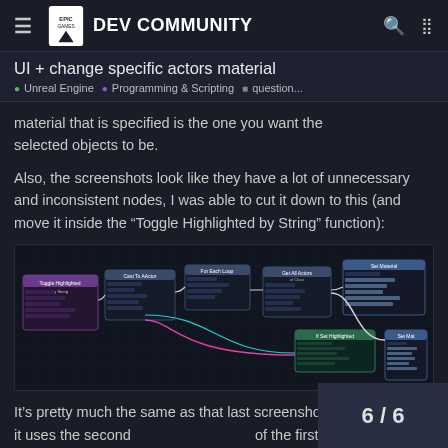EPIC GAMES DEV COMMUNITY
UI + change specific actors material
Unreal Engine • Programming & Scripting • question...
material that is specified is the one you want the selected objects to be.
Also, the screenshots look like they have a lot of unnecessary and inconsistent nodes, I was able to cut it down to this (and move it inside the “Toggle Highlighted by String” function):
[Figure (screenshot): Screenshot of Unreal Engine Blueprint node graph showing a simplified version of the Toggle Highlighted by String function with connected nodes]
It’s pretty much the same as that last screenshot you had, except it uses the second of the first one when deciding whe
6 / 6